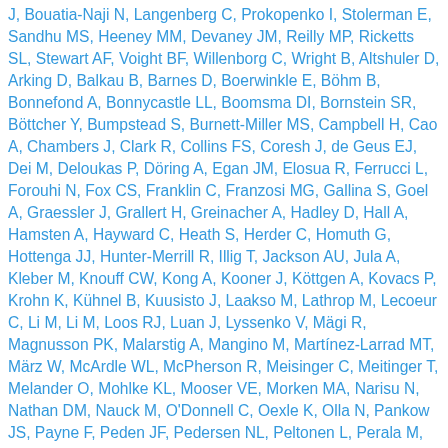J, Bouatia-Naji N, Langenberg C, Prokopenko I, Stolerman E, Sandhu MS, Heeney MM, Devaney JM, Reilly MP, Ricketts SL, Stewart AF, Voight BF, Willenborg C, Wright B, Altshuler D, Arking D, Balkau B, Barnes D, Boerwinkle E, Böhm B, Bonnefond A, Bonnycastle LL, Boomsma DI, Bornstein SR, Böttcher Y, Bumpstead S, Burnett-Miller MS, Campbell H, Cao A, Chambers J, Clark R, Collins FS, Coresh J, de Geus EJ, Dei M, Deloukas P, Döring A, Egan JM, Elosua R, Ferrucci L, Forouhi N, Fox CS, Franklin C, Franzosi MG, Gallina S, Goel A, Graessler J, Grallert H, Greinacher A, Hadley D, Hall A, Hamsten A, Hayward C, Heath S, Herder C, Homuth G, Hottenga JJ, Hunter-Merrill R, Illig T, Jackson AU, Jula A, Kleber M, Knouff CW, Kong A, Kooner J, Köttgen A, Kovacs P, Krohn K, Kühnel B, Kuusisto J, Laakso M, Lathrop M, Lecoeur C, Li M, Li M, Loos RJ, Luan J, Lyssenko V, Mägi R, Magnusson PK, Malarstig A, Mangino M, Martínez-Larrad MT, März W, McArdle WL, McPherson R, Meisinger C, Meitinger T, Melander O, Mohlke KL, Mooser VE, Morken MA, Narisu N, Nathan DM, Nauck M, O'Donnell C, Oexle K, Olla N, Pankow JS, Payne F, Peden JF, Pedersen NL, Peltonen L, Perala M, Polasek O, Porey F, Radar